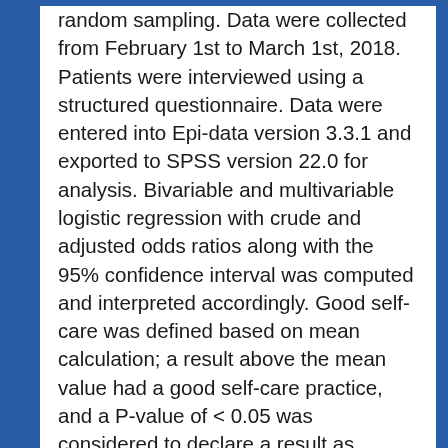random sampling. Data were collected from February 1st to March 1st, 2018. Patients were interviewed using a structured questionnaire. Data were entered into Epi-data version 3.3.1 and exported to SPSS version 22.0 for analysis. Bivariable and multivariable logistic regression with crude and adjusted odds ratios along with the 95% confidence interval was computed and interpreted accordingly. Good self-care was defined based on mean calculation; a result above the mean value had a good self-care practice, and a P-value of < 0.05 was considered to declare a result as statistically significant.Result: The result of the study showed that 55.9%, (95% CI: 51.4, 60.3) of participants had good self-care practices. Good self-care practice was associated with having family support, treatment satisfaction, diabetes education, having glucometer, higher educational status, duration of the disease, high economic status, and having good knowledge. Self-care practice was